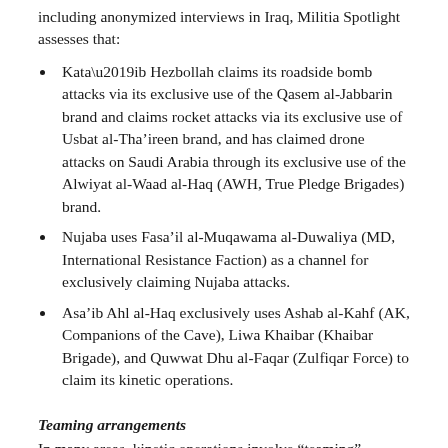including anonymized interviews in Iraq, Militia Spotlight assesses that:
Kata’ib Hezbollah claims its roadside bomb attacks via its exclusive use of the Qasem al-Jabbarin brand and claims rocket attacks via its exclusive use of Usbat al-Tha’ireen brand, and has claimed drone attacks on Saudi Arabia through its exclusive use of the Alwiyat al-Waad al-Haq (AWH, True Pledge Brigades) brand.
Nujaba uses Fasa’il al-Muqawama al-Duwaliya (MD, International Resistance Faction) as a channel for exclusively claiming Nujaba attacks.
Asa’ib Ahl al-Haq exclusively uses Ashab al-Kahf (AK, Companions of the Cave), Liwa Khaibar (Khaibar Brigade), and Quwwat Dhu al-Faqar (Zulfiqar Force) to claim its kinetic operations.
Teaming arrangements
In many areas, kinetic operations involve “teaming” arrangements put in place by KH to draw on the broader muqawama, albeit under KH’s strong hand. For instance, KH appears to have a monopoly on the operation of fixed-